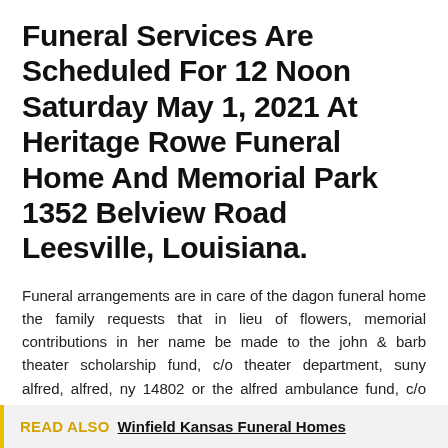Funeral Services Are Scheduled For 12 Noon Saturday May 1, 2021 At Heritage Rowe Funeral Home And Memorial Park 1352 Belview Road Leesville, Louisiana.
Funeral arrangements are in care of the dagon funeral home the family requests that in lieu of flowers, memorial contributions in her name be made to the john & barb theater scholarship fund, c/o theater department, suny alfred, alfred, ny 14802 or the alfred ambulance fund, c/o a.e. 5216 western tpke po 430: 2, 2021, where she had been a resident since.
READ ALSO  Winfield Kansas Funeral Homes